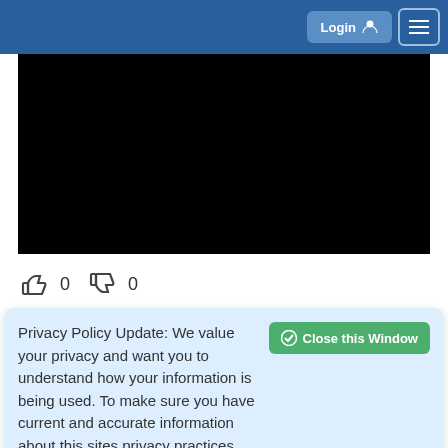Login  ☰
[Figure (photo): Black video player area]
👍 0  👎 0
Annual Conference 2017
☆ 241  What Do Kids Really
Privacy Policy Update: We value your privacy and want you to understand how your information is being used. To make sure you have current and accurate information about this sites privacy practices please visit the privacy center by clicking here.